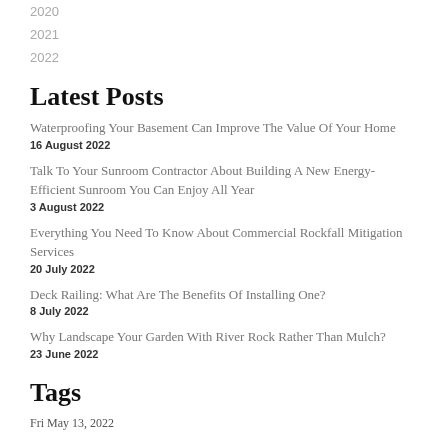2020
2021
2022
Latest Posts
Waterproofing Your Basement Can Improve The Value Of Your Home
16 August 2022
Talk To Your Sunroom Contractor About Building A New Energy-Efficient Sunroom You Can Enjoy All Year
3 August 2022
Everything You Need To Know About Commercial Rockfall Mitigation Services
20 July 2022
Deck Railing: What Are The Benefits Of Installing One?
8 July 2022
Why Landscape Your Garden With River Rock Rather Than Mulch?
23 June 2022
Tags
Fri May 13, 2022